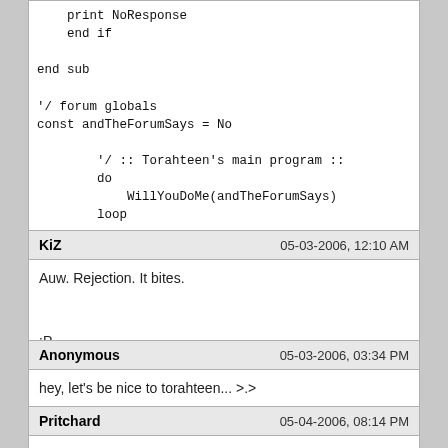print NoResponse
    end if

end sub

'/ forum globals
const andTheForumSays = No

        '/ :: Torahteen's main program ::
        do
            WillYouDoMe(andTheForumSays)
        loop
:mrgreen:
KiZ
05-03-2006, 12:10 AM
Auw. Rejection. It bites.

:P
Anonymous
05-03-2006, 03:34 PM
hey, let's be nice to torahteen... >.>
Pritchard
05-04-2006, 08:14 PM
Here's Thrawn, portrayed in the FB timeline which I proposed. Heh...: